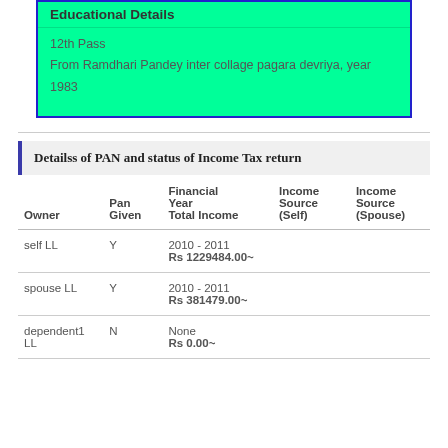Educational Details
12th Pass
From Ramdhari Pandey inter collage pagara devriya, year 1983
Detailss of PAN and status of Income Tax return
| Owner | Pan Given | Financial Year Total Income | Income Source (Self) | Income Source (Spouse) |
| --- | --- | --- | --- | --- |
| self LL | Y | 2010 - 2011
Rs 1229484.00~ |  |  |
| spouse LL | Y | 2010 - 2011
Rs 381479.00~ |  |  |
| dependent1 LL | N | None
Rs 0.00~ |  |  |